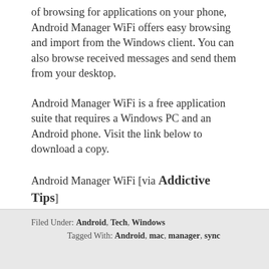of browsing for applications on your phone, Android Manager WiFi offers easy browsing and import from the Windows client. You can also browse received messages and send them from your desktop.
Android Manager WiFi is a free application suite that requires a Windows PC and an Android phone. Visit the link below to download a copy.
Android Manager WiFi [via Addictive Tips]
Filed Under: Android, Tech, Windows
Tagged With: Android, mac, manager, sync